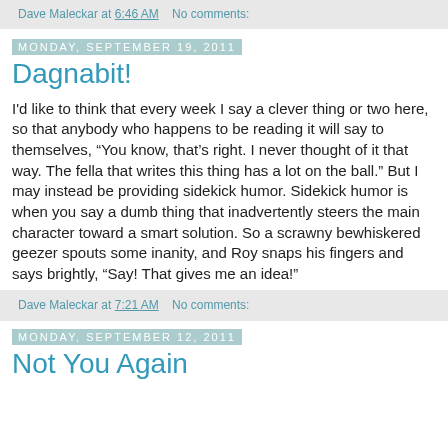Dave Maleckar at 6:46 AM   No comments:
Monday, September 19, 2011
Dagnabit!
I'd like to think that every week I say a clever thing or two here, so that anybody who happens to be reading it will say to themselves, “You know, that’s right. I never thought of it that way. The fella that writes this thing has a lot on the ball.” But I may instead be providing sidekick humor. Sidekick humor is when you say a dumb thing that inadvertently steers the main character toward a smart solution. So a scrawny bewhiskered geezer spouts some inanity, and Roy snaps his fingers and says brightly, “Say! That gives me an idea!”
Dave Maleckar at 7:21 AM   No comments:
Monday, September 12, 2011
Not You Again